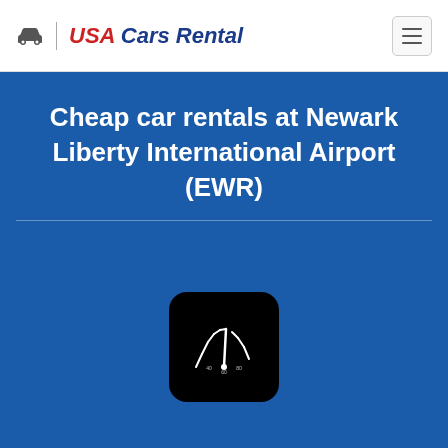USA Cars Rental
Cheap car rentals at Newark Liberty International Airport (EWR)
[Figure (logo): Speedometer app icon — black rounded square with white speedometer needle and dial lines]